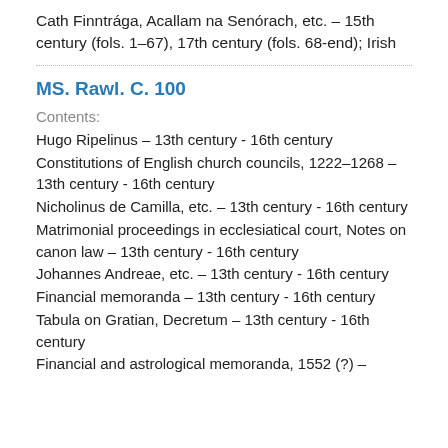Cath Finntrága, Acallam na Senórach, etc. – 15th century (fols. 1–67), 17th century (fols. 68-end); Irish
MS. Rawl. C. 100
Contents:
Hugo Ripelinus – 13th century - 16th century
Constitutions of English church councils, 1222–1268 – 13th century - 16th century
Nicholinus de Camilla, etc. – 13th century - 16th century
Matrimonial proceedings in ecclesiatical court, Notes on canon law – 13th century - 16th century
Johannes Andreae, etc. – 13th century - 16th century
Financial memoranda – 13th century - 16th century
Tabula on Gratian, Decretum – 13th century - 16th century
Financial and astrological memoranda, 1552 (?) –